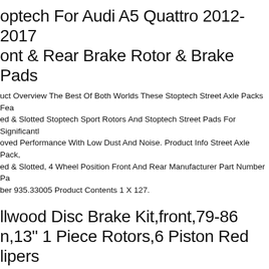optech For Audi A5 Quattro 2012-2017 ont & Rear Brake Rotor & Brake Pads
uct Overview The Best Of Both Worlds These Stoptech Street Axle Packs Fea ed & Slotted Stoptech Sport Rotors And Stoptech Street Pads For Significantly oved Performance With Low Dust And Noise. Product Info Street Axle Pack, ed & Slotted, 4 Wheel Position Front And Rear Manufacturer Part Number Pa ber 935.33005 Product Contents 1 X 127.
llwood Disc Brake Kit,front,79-86 n,13" 1 Piece Rotors,6 Piston Red lipers
ed Narrow Superlite 6 Piston Radial Calipers -red. Features Powder-coated R ers. 1979 Skylark With Oe Disc Brake Spindles. 1.10" Thick X 12.90" O.d. 1 Piec rs. 1979-1981 Camaro With Oe Disc Brake Spindles.